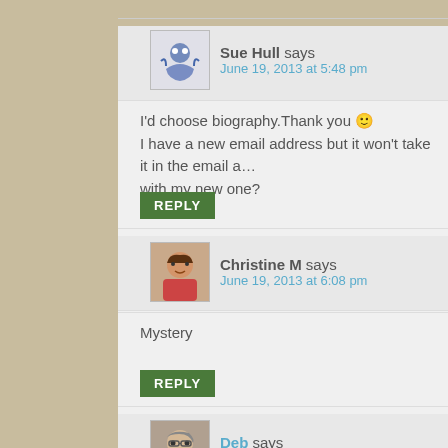Sue Hull says
June 19, 2013 at 5:48 pm
I'd choose biography.Thank you 🙂
I have a new email address but it won't take it in the email a…
with my new one?
REPLY
Christine M says
June 19, 2013 at 6:08 pm
Mystery
REPLY
Deb says
June 20, 2013 at 5:06 pm